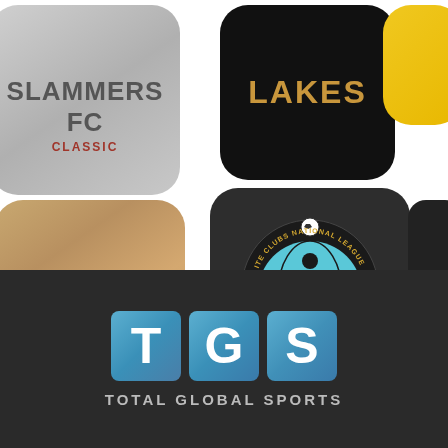[Figure (illustration): Grid of app store icons on white background including Slammers FC Classic (silver icon), Lakes (black icon with gold text), a partial yellow icon, TGS TOTALplayer (sandy/brown background with teal TGS letter tiles), ECNL Elite Clubs National League (dark icon with circular badge showing soccer player), and a partial dark icon on the right.]
[Figure (logo): Total Global Sports (TGS) logo on dark background. Three teal/blue square tiles with white letters T, G, S. Below reads 'TOTAL GLOBAL SPORTS' in light gray uppercase letters.]